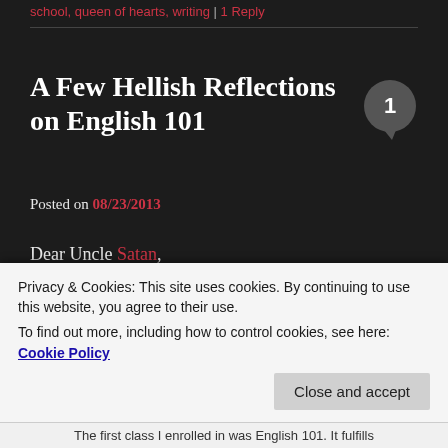school, queen of hearts, writing | 1 Reply
A Few Hellish Reflections on English 101
Posted on 08/23/2013
Dear Uncle Satan,
As you know, I went back to college this quarter in the hopes of getting a degree to change career paths. Career paths! That's a joke, I wasn't on a path to begin with. I was just tired of doing jobs I didn't care about while writing
Privacy & Cookies: This site uses cookies. By continuing to use this website, you agree to their use.
To find out more, including how to control cookies, see here: Cookie Policy
The first class I enrolled in was English 101. It fulfills